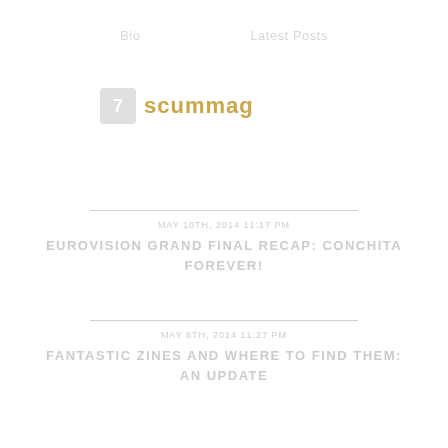Bio    Latest Posts
[Figure (logo): Small avatar icon followed by 'scummag' logo text in gold/amber color]
MAY 10TH, 2014 11:17 PM
EUROVISION GRAND FINAL RECAP: CONCHITA FOREVER!
MAY 8TH, 2014 11:27 PM
FANTASTIC ZINES AND WHERE TO FIND THEM: AN UPDATE